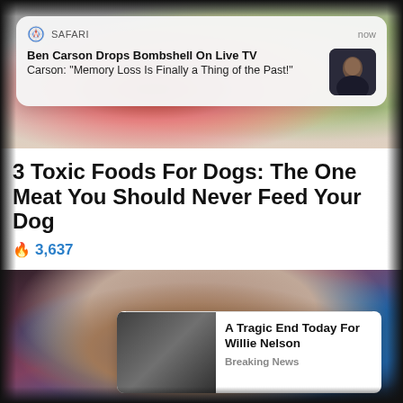[Figure (screenshot): Safari push notification banner showing 'Ben Carson Drops Bombshell On Live TV' with subtext 'Carson: "Memory Loss Is Finally a Thing of the Past!"' and a thumbnail of Ben Carson, timestamped 'now']
3 Toxic Foods For Dogs: The One Meat You Should Never Feed Your Dog
🔥 3,637
[Figure (photo): Photo of a person (partially visible, brown hair) against teal/dark background]
[Figure (screenshot): Embedded content card showing elderly man photo with headline 'A Tragic End Today For Willie Nelson' and label 'Breaking News']